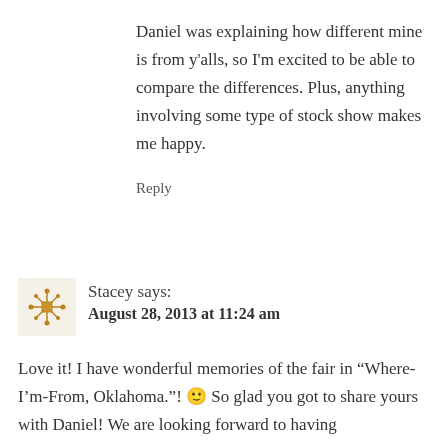Daniel was explaining how different mine is from y'alls, so I'm excited to be able to compare the differences. Plus, anything involving some type of stock show makes me happy.
Reply
Stacey says: August 28, 2013 at 11:24 am
Love it! I have wonderful memories of the fair in “Where-I’m-From, Oklahoma.”! 🙂 So glad you got to share yours with Daniel! We are looking forward to having